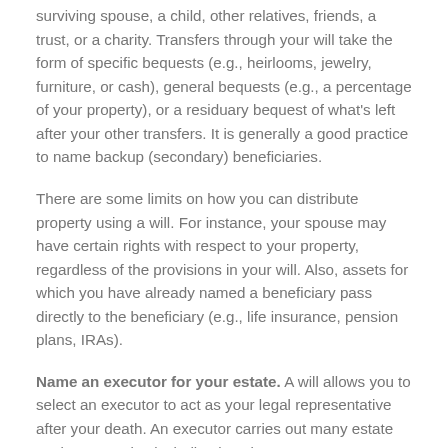surviving spouse, a child, other relatives, friends, a trust, or a charity. Transfers through your will take the form of specific bequests (e.g., heirlooms, jewelry, furniture, or cash), general bequests (e.g., a percentage of your property), or a residuary bequest of what's left after your other transfers. It is generally a good practice to name backup (secondary) beneficiaries.
There are some limits on how you can distribute property using a will. For instance, your spouse may have certain rights with respect to your property, regardless of the provisions in your will. Also, assets for which you have already named a beneficiary pass directly to the beneficiary (e.g., life insurance, pension plans, IRAs).
Name an executor for your estate. A will allows you to select an executor to act as your legal representative after your death. An executor carries out many estate settlement tasks, including locating